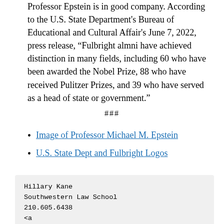Professor Epstein is in good company. According to the U.S. State Department's Bureau of Educational and Cultural Affair's June 7, 2022, press release, “Fulbright almni have achieved distinction in many fields, including 60 who have been awarded the Nobel Prize, 88 who have received Pulitzer Prizes, and 39 who have served as a head of state or government.”
###
Image of Professor Michael M. Epstein
U.S. State Dept and Fulbright Logos
Hillary Kane
Southwestern Law School
210.605.6438
<a href="mailto:HKane@swlaw.edu">HKane@swlaw.edu</a>